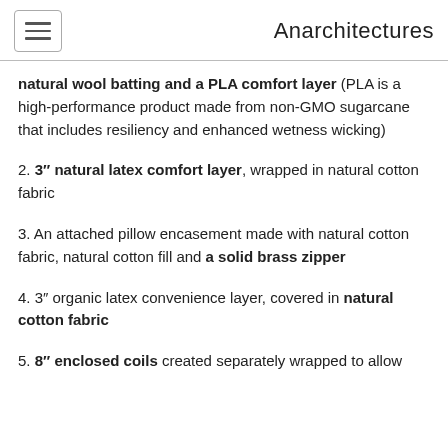Anarchitectures
natural wool batting and a PLA comfort layer (PLA is a high-performance product made from non-GMO sugarcane that includes resiliency and enhanced wetness wicking)
2. 3″ natural latex comfort layer, wrapped in natural cotton fabric
3. An attached pillow encasement made with natural cotton fabric, natural cotton fill and a solid brass zipper
4. 3″ organic latex convenience layer, covered in natural cotton fabric
5. 8″ enclosed coils created separately wrapped to allow